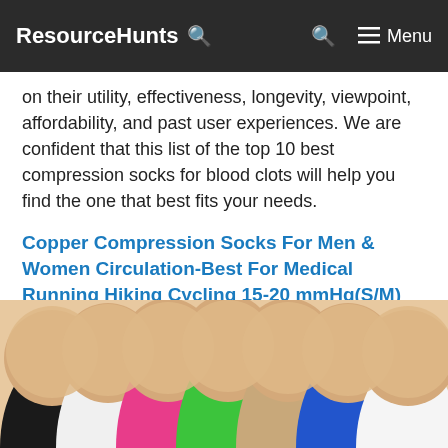ResourceHunts
on their utility, effectiveness, longevity, viewpoint, affordability, and past user experiences. We are confident that this list of the top 10 best compression socks for blood clots will help you find the one that best fits your needs.
Copper Compression Socks For Men & Women Circulation-Best For Medical Running Hiking Cycling 15-20 mmHg(S/M)
[Figure (photo): Product photo showing multiple compression socks in various colors (black, white, pink, green, beige, blue, white) fanned out on legs]